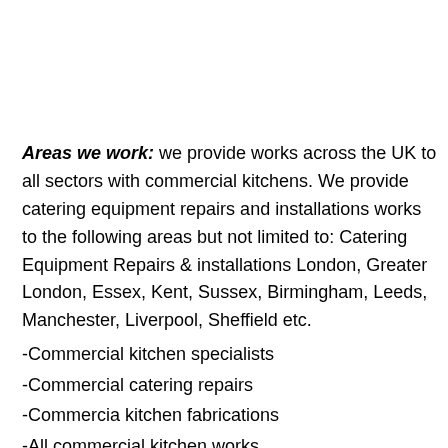Areas we work: we provide works across the UK to all sectors with commercial kitchens. We provide catering equipment repairs and installations works to the following areas but not limited to: Catering Equipment Repairs & installations London, Greater London, Essex, Kent, Sussex, Birmingham, Leeds, Manchester, Liverpool, Sheffield etc.
-Commercial kitchen specialists
-Commercial catering repairs
-Commercia kitchen fabrications
-All commercial kitchen works